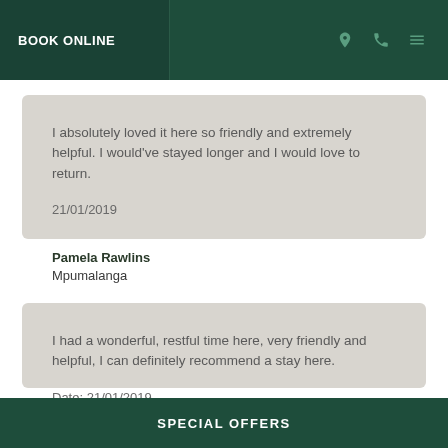BOOK ONLINE
I absolutely loved it here so friendly and extremely helpful. I would've stayed longer and I would love to return.

21/01/2019
Pamela Rawlins
Mpumalanga
I had a wonderful, restful time here, very friendly and helpful, I can definitely recommend a stay here.

Date: 21/01/2019
SPECIAL OFFERS